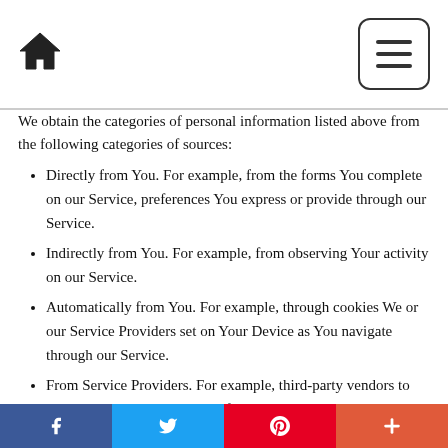[Home icon] [Menu button]
We obtain the categories of personal information listed above from the following categories of sources:
Directly from You. For example, from the forms You complete on our Service, preferences You express or provide through our Service.
Indirectly from You. For example, from observing Your activity on our Service.
Automatically from You. For example, through cookies We or our Service Providers set on Your Device as You navigate through our Service.
From Service Providers. For example, third-party vendors to monitor and analyze the use of our Service, third-party vendors to deliver targeted advertising to You, or other third-party vendors that We use to provide the Service to You.
Facebook | Twitter | Pinterest | Plus